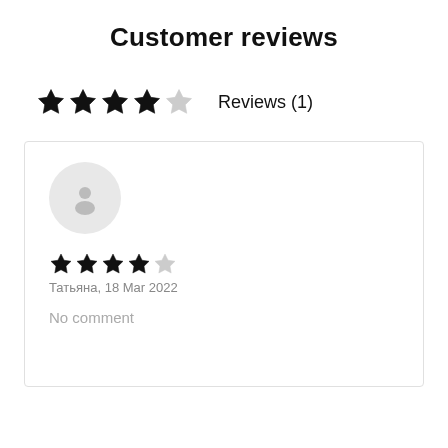Customer reviews
★★★★☆ Reviews (1)
[Figure (other): User avatar placeholder circle with a person silhouette icon]
★★★★☆ Татьяна, 18 Mar 2022
No comment